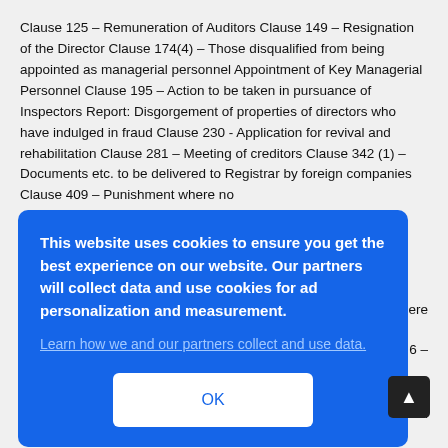Clause 125 – Remuneration of Auditors Clause 149 – Resignation of the Director Clause 174(4) – Those disqualified from being appointed as managerial personnel Appointment of Key Managerial Personnel Clause 195 – Action to be taken in pursuance of Inspectors Report: Disgorgement of properties of directors who have indulged in fraud Clause 230 - Application for revival and rehabilitation Clause 281 – Meeting of creditors Clause 342 (1) – Documents etc. to be delivered to Registrar by foreign companies Clause 409 – Punishment where no
[Figure (screenshot): Cookie consent overlay with blue background. Text reads: 'This website uses cookies to ensure you get the best experience on our website. Our partners will collect data and use cookies for ad personalization and measurement.' A link 'Learn how we and our partners collect and use data.' and an OK button.]
reduced to 10 but no mention of listed companies. Proviso removed –